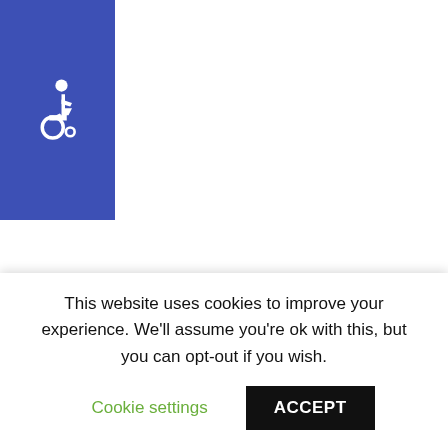[Figure (illustration): Blue square accessibility icon with white wheelchair symbol]
Blogroll
Documentation
Plugins
This website uses cookies to improve your experience. We'll assume you're ok with this, but you can opt-out if you wish.
Cookie settings  ACCEPT